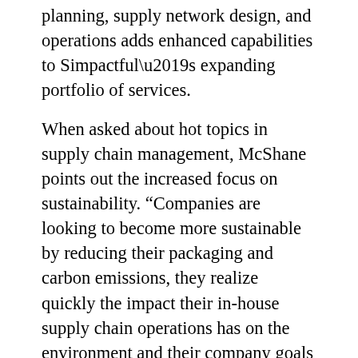planning, supply network design, and operations adds enhanced capabilities to Simpactful's expanding portfolio of services.
When asked about hot topics in supply chain management, McShane points out the increased focus on sustainability. “Companies are looking to become more sustainable by reducing their packaging and carbon emissions, they realize quickly the impact their in-house supply chain operations has on the environment and their company goals and it can be a daunting task,” explains McShane. “We are enamored by Amazon’s transformation on the retail industry, but how it’s currently operating is not environmentally sustainable and consumers are starting to take notice. Suppliers and retailers can jointly focus on these supply chain developments